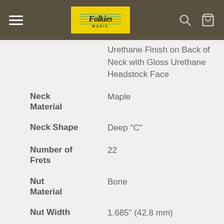[Figure (logo): Folkies Music logo on yellow background in dark navigation bar with hamburger menu, search icon, and cart icon]
| Attribute | Value |
| --- | --- |
|  | Urethane Finish on Back of Neck with Gloss Urethane Headstock Face |
| Neck Material | Maple |
| Neck Shape | Deep "C" |
| Number of Frets | 22 |
| Nut Material | Bone |
| Nut Width | 1.685" (42.8 mm) |
| Position Inlays | White Dot |
| Side Dots | White |